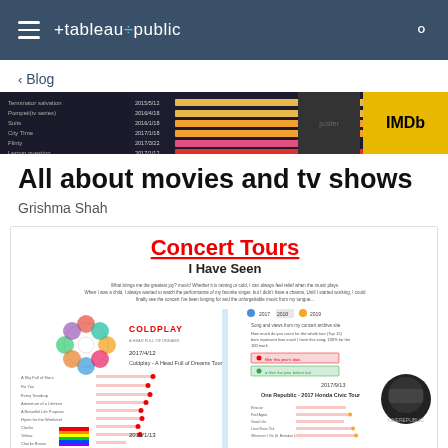tableau public
< Blog
[Figure (screenshot): Preview strip of an IMDB-related bar chart visualization showing movie/TV show data with horizontal bars in yellow, orange, and red on dark background]
All about movies and tv shows
Grishma Shah
[Figure (infographic): Concert Tours I Have Seen infographic showing Coldplay A Head Full of Dreams Tour 2017/4/12, One Republic 2017 Honda Civic Tour 2017/9/13, and other concerts, with horizontal bar charts showing song data, colored dot legends for years 2017, 2018, 2019]